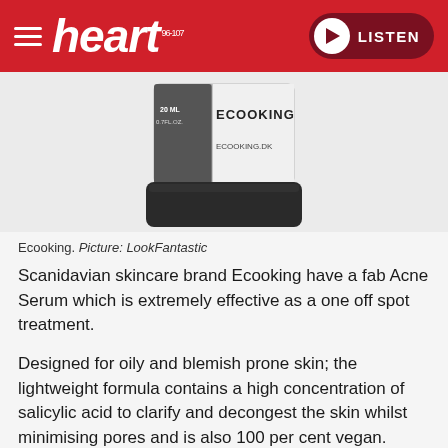heart 96-107 | LISTEN
[Figure (photo): Close-up of an Ecooking product bottle showing the label with text 'ECOOKING', '20 ML', '0.7 FL.OZ.', 'ECOOKING.DK'. The bottle has a dark cap.]
Ecooking. Picture: LookFantastic
Scanidavian skincare brand Ecooking have a fab Acne Serum which is extremely effective as a one off spot treatment.
Designed for oily and blemish prone skin; the lightweight formula contains a high concentration of salicylic acid to clarify and decongest the skin whilst minimising pores and is also 100 per cent vegan.